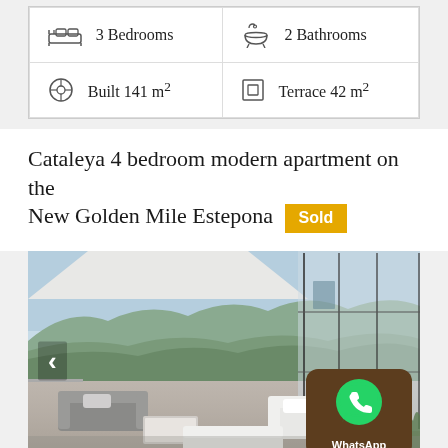| 3 Bedrooms | 2 Bathrooms |
| Built 141 m² | Terrace 42 m² |
Cataleya 4 bedroom modern apartment on the New Golden Mile Estepona [Sold]
[Figure (photo): Modern apartment terrace with outdoor seating, panoramic mountain and city views, floor-to-ceiling glass doors. WhatsApp contact badge overlay in bottom right.]